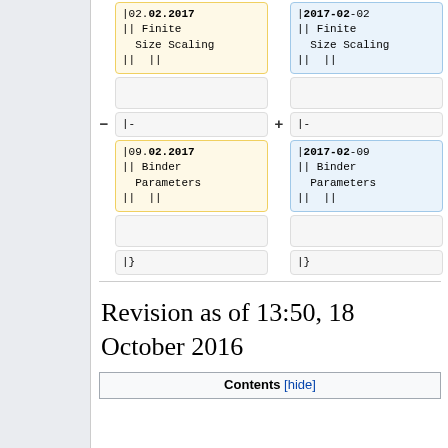[Figure (screenshot): Wikipedia diff view showing two columns of wiki markup. Left (yellow) column shows |02.02.2017 with bold 02.2017, || Finite Size Scaling, || ||. Right (blue) column shows |2017-02-02 with bold 2017-02 underlined, || Finite Size Scaling, || ||. Below: plain boxes, |- rows, then left yellow box: |09.02.2017 bold, || Binder Parameters, || ||. Right blue box: |2017-02-09 bold, || Binder Parameters, || ||. Then plain boxes and |} rows.]
Revision as of 13:50, 18 October 2016
| Contents [hide] |
| --- |